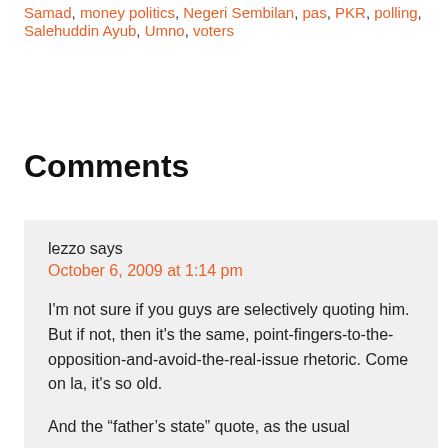Samad, money politics, Negeri Sembilan, pas, PKR, polling, Salehuddin Ayub, Umno, voters
Comments
lezzo says
October 6, 2009 at 1:14 pm
I'm not sure if you guys are selectively quoting him. But if not, then it's the same, point-fingers-to-the-opposition-and-avoid-the-real-issue rhetoric. Come on la, it's so old.
And the “father’s state” quote, as the usual